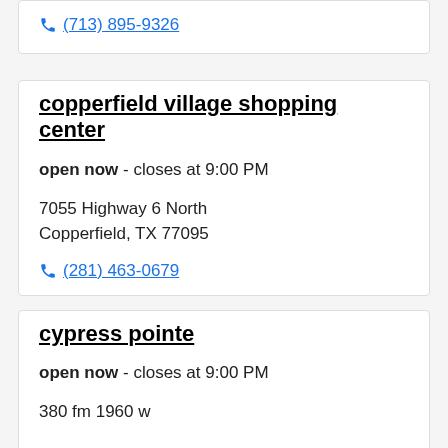(713) 895-9326
copperfield village shopping center
open now - closes at 9:00 PM
7055 Highway 6 North
Copperfield, TX 77095
(281) 463-0679
cypress pointe
open now - closes at 9:00 PM
380 fm 1960 w